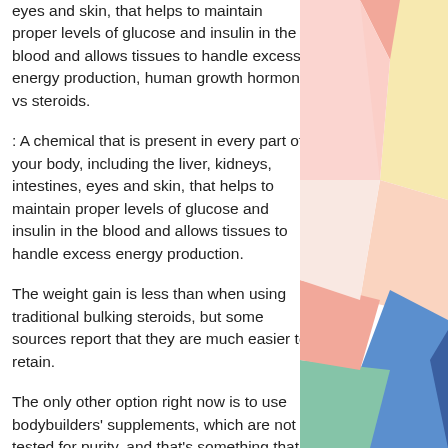eyes and skin, that helps to maintain proper levels of glucose and insulin in the blood and allows tissues to handle excess energy production, human growth hormone vs steroids.
: A chemical that is present in every part of your body, including the liver, kidneys, intestines, eyes and skin, that helps to maintain proper levels of glucose and insulin in the blood and allows tissues to handle excess energy production.
The weight gain is less than when using traditional bulking steroids, but some sources report that they are much easier to retain.
The only other option right now is to use bodybuilders' supplements, which are not tested for purity, and that's something that
[Figure (illustration): Colorful geometric abstract shapes (triangles, rectangles, polygons) in pastel colors (pink, coral, yellow, mint green, blue, peach) arranged decoratively on the right side of the page.]